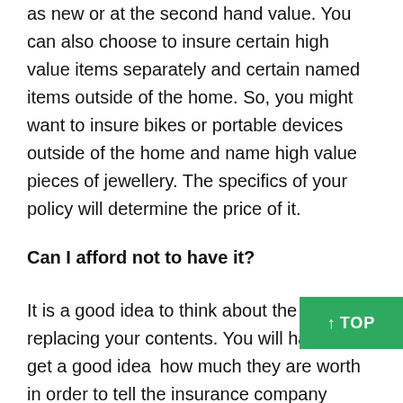as new or at the second hand value. You can also choose to insure certain high value items separately and certain named items outside of the home. So, you might want to insure bikes or portable devices outside of the home and name high value pieces of jewellery. The specifics of your policy will determine the price of it.
Can I afford not to have it?
It is a good idea to think about the cost of replacing your contents. You will have to get a good idea of how much they are worth in order to tell the insurance company anyway. You need to then imagine how you would replace items worth this much if you do not have insurance. If you only have a